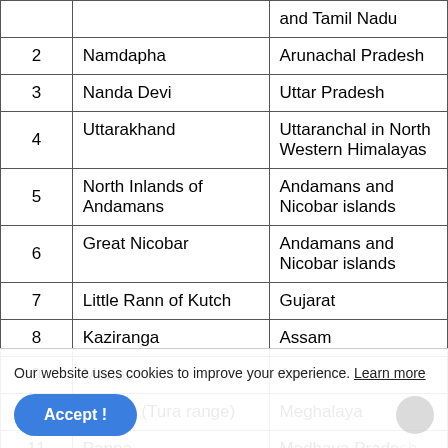| # | Name | State/Location |
| --- | --- | --- |
|  |  | and Tamil Nadu |
| 2 | Namdapha | Arunachal Pradesh |
| 3 | Nanda Devi | Uttar Pradesh |
| 4 | Uttarakhand | Uttaranchal in North Western Himalayas |
| 5 | North Inlands of Andamans | Andamans and Nicobar islands |
| 6 | Great Nicobar | Andamans and Nicobar islands |
| 7 | Little Rann of Kutch | Gujarat |
| 8 | Kaziranga | Assam |
| 9 | Manas | Assam (partially visible) |
| 10 | Nokrek (Tura range) | Meghalaya |
| 11 | Panna | Madhaya Pradesh |
| 12 | Thar/Indian Desert | Rajasthan |
Our website uses cookies to improve your experience. Learn more